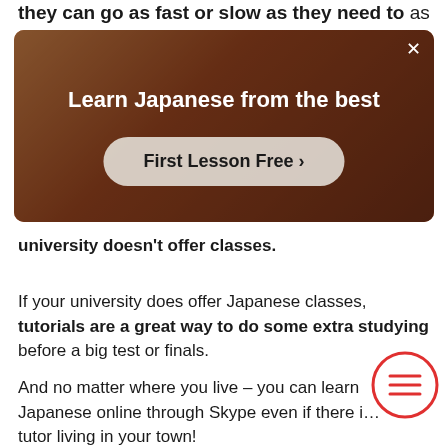they can go as fast or slow as they need to as well
[Figure (screenshot): Advertisement banner for learning Japanese showing a person in a red outfit with text 'Learn Japanese from the best' and a 'First Lesson Free >' button]
university doesn't offer classes.
If your university does offer Japanese classes, tutorials are a great way to do some extra studying before a big test or finals.
And no matter where you live – you can learn Japanese online through Skype even if there is no tutor living in your town!